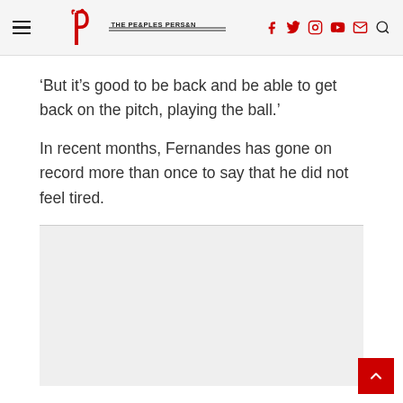The Peoples Person
‘But it’s good to be back and be able to get back on the pitch, playing the ball.’
In recent months, Fernandes has gone on record more than once to say that he did not feel tired.
[Figure (other): Advertisement placeholder area below divider line]